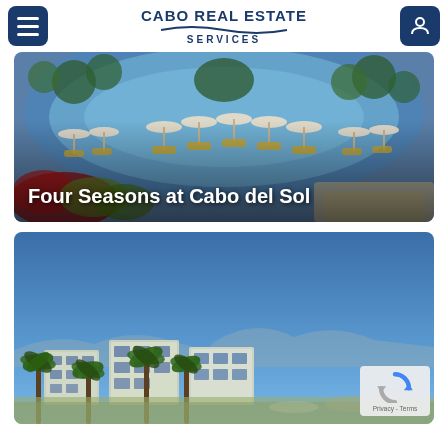Cabo Real Estate Services
[Figure (photo): Aerial view of a resort pool area with lounge chairs and beach umbrellas at Four Seasons at Cabo del Sol]
Four Seasons at Cabo del Sol
[Figure (photo): Exterior view of modern luxury residential buildings with palm trees under a clear blue sky]